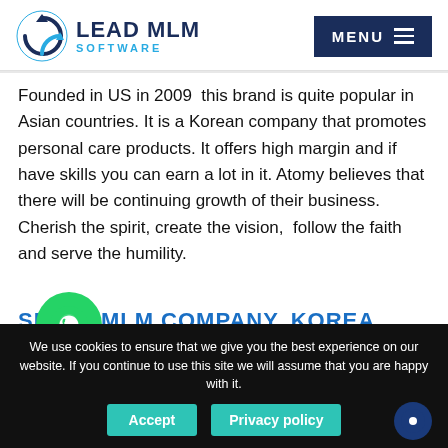[Figure (logo): Lead MLM Software logo with circular arrow icon and navy/blue text]
Founded in US in 2009  this brand is quite popular in Asian countries. It is a Korean company that promotes personal care products. It offers high margin and if have skills you can earn a lot in it. Atomy believes that there will be continuing growth of their business. Cherish the spirit, create the vision,  follow the faith and serve the humility.
[Figure (logo): WhatsApp icon button (green circle with phone handset)]
SECRET MLM COMPANY, KOREA
We use cookies to ensure that we give you the best experience on our website. If you continue to use this site we will assume that you are happy with it.